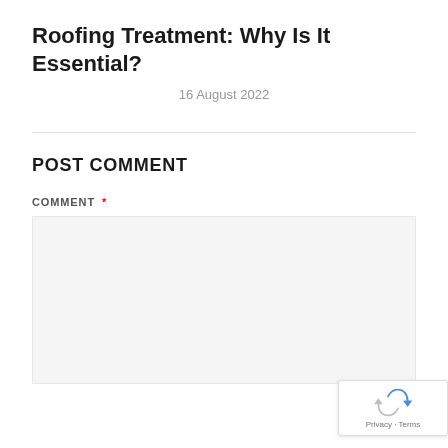Roofing Treatment: Why Is It Essential?
16 August 2022
POST COMMENT
COMMENT *